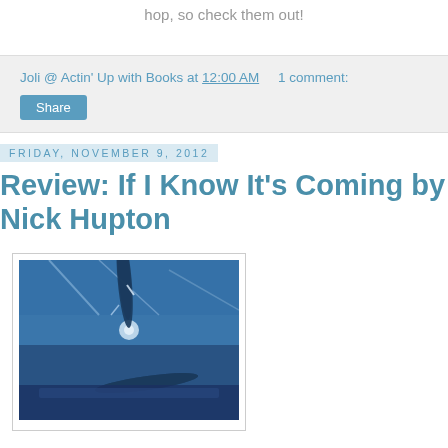hop, so check them out!
Joli @ Actin' Up with Books at 12:00 AM    1 comment:
Share
Friday, November 9, 2012
Review: If I Know It's Coming by Nick Hupton
[Figure (photo): Blue-tinted photograph of an airplane propeller viewed from the front, forming the book cover for 'If I Know It's Coming' by Nick Hupton]